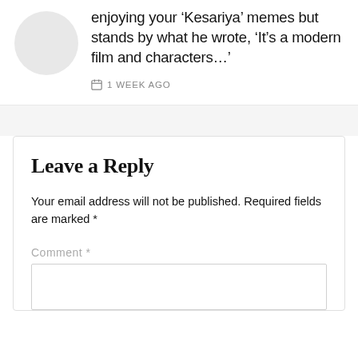enjoying your ‘Kesariya’ memes but stands by what he wrote, ‘It’s a modern film and characters…’
1 WEEK AGO
Leave a Reply
Your email address will not be published. Required fields are marked *
Comment *